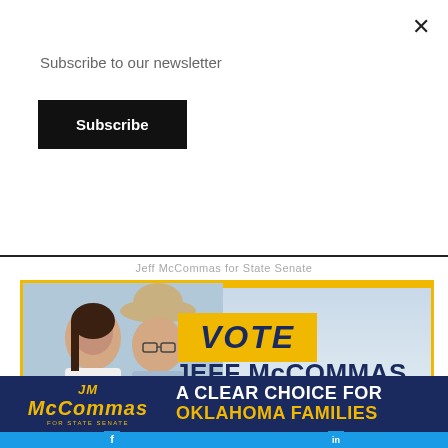Subscribe to our newsletter
Subscribe
×
Jeff McCommas for State Senate
[Figure (photo): Campaign photo of Jeff McCommas and his wife with overlay text: VOTE JEFF McCOMMAS on August 23rd, votejeffmcommas.com]
McCOMMAS FOR STATE SENATE — A CLEAR CHOICE FOR OKLAHOMA FAMILIES
[Figure (other): Facebook and LinkedIn social media icons on blue bar]